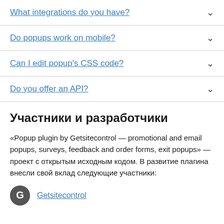What integrations do you have?
Do popups work on mobile?
Can I edit popup's CSS code?
Do you offer an API?
Участники и разработчики
«Popup plugin by Getsitecontrol — promotional and email popups, surveys, feedback and order forms, exit popups» — проект с открытым исходным кодом. В развитие плагина внесли свой вклад следующие участники:
Getsitecontrol